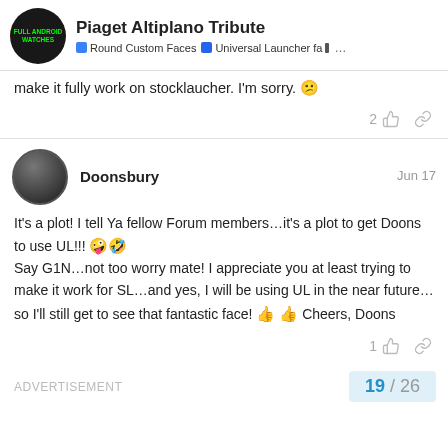Piaget Altiplano Tribute | Round Custom Faces | Universal Launcher fa... ...
make it fully work on stocklaucher. I'm sorry. 😕
2 [like] [link]
Doonsbury  Jun 17
It's a plot! I tell Ya fellow Forum members...it's a plot to get Doons to use UL!!! 🤪🤣
Say G1N...not too worry mate! I appreciate you at least trying to make it work for SL...and yes, I will be using UL in the near future...so I'll still get to see that fantastic face! 👍 👍 Cheers, Doons
1 [like] [link]
ADVERTISEMENT
19 / 26